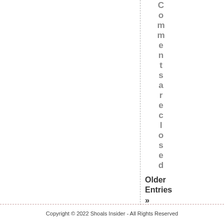Comments are closed
Older Entries »
Copyright © 2022 Shoals Insider - All Rights Reserved